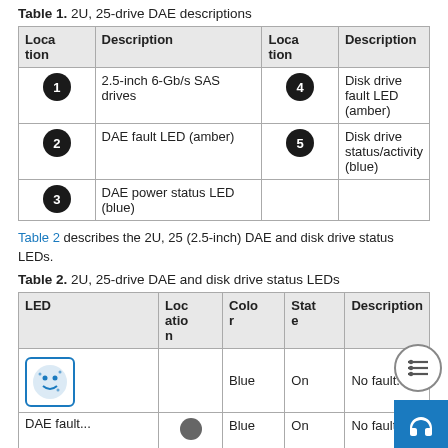Table 1. 2U, 25-drive DAE descriptions
| Location | Description | Location | Description |
| --- | --- | --- | --- |
| 1 | 2.5-inch 6-Gb/s SAS drives | 4 | Disk drive fault LED (amber) |
| 2 | DAE fault LED (amber) | 5 | Disk drive status/activity (blue) |
| 3 | DAE power status LED (blue) |  |  |
Table 2 describes the 2U, 25 (2.5-inch) DAE and disk drive status LEDs.
Table 2. 2U, 25-drive DAE and disk drive status LEDs
| LED | Location | Color | State | Description |
| --- | --- | --- | --- | --- |
| DAE fault... |  | Blue | On | No fault... |